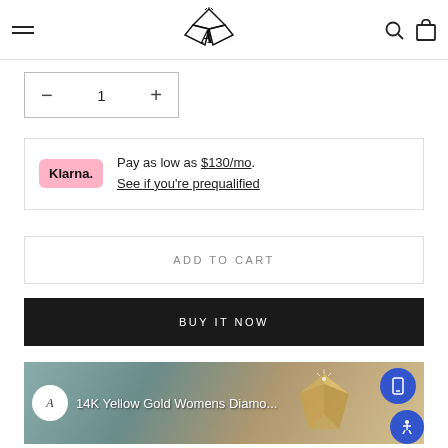Navigation header with hamburger menu, logo, search and bag icons
1 (quantity selector with minus and plus buttons)
Pay as low as $130/mo. See if you're prequalified
ADD TO CART
BUY IT NOW
[Figure (screenshot): Video thumbnail showing 14K Yellow Gold Womens Diamo... with store avatar and phone icon button]